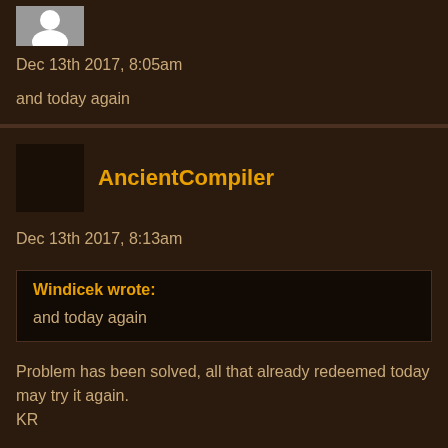[Figure (photo): User avatar image placeholder at top of page]
Dec 13th 2017, 8:05am
and today again
AncientCompiler
Dec 13th 2017, 8:13am
Windicek wrote:
and today again
Problem has been solved, all that already redeemed today may try it again.
KR
Yoda
Dec 23rd 2017, 12:30am